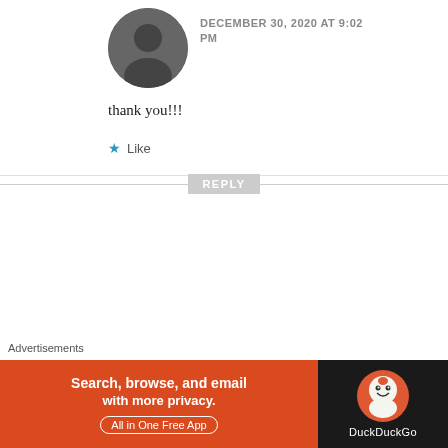[Figure (photo): Circular avatar/profile photo of a person (dark-toned silhouette)]
DECEMBER 30, 2020 AT 9:02 PM
thank you!!!
Like
REPLY
[Figure (logo): Girl Talk logo with bold text GIRL and TALK in black with red lips illustration in the center]
Another day 1/19/21 – Rachel Wagner
JANUARY 20, 2021 AT 7:53 PM
[…] semi-relevant pieces: Local birds love
[Figure (infographic): DuckDuckGo advertisement banner: orange/red left side reading 'Search, browse, and email with more privacy. All in One Free App' and dark right side with DuckDuckGo logo]